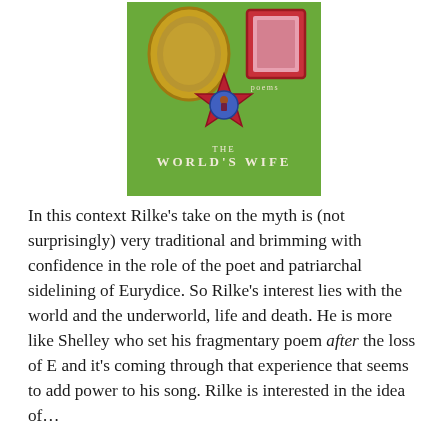[Figure (photo): Book cover of 'The World's Wife' showing a green background with decorative objects including a gold oval frame, a red star brooch with a miniature figure, and the text 'poems' and 'THE WORLD'S WIFE' in white lettering.]
In this context Rilke's take on the myth is (not surprisingly) very traditional and brimming with confidence in the role of the poet and patriarchal sidelining of Eurydice. So Rilke's interest lies with the world and the underworld, life and death. He is more like Shelley who set his fragmentary poem after the loss of E and it's coming through that experience that seems to add power to his song. Rilke is interested in the idea of...